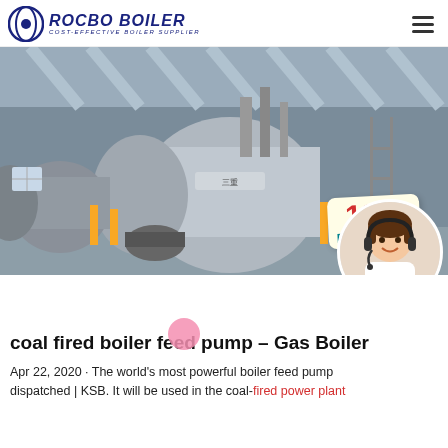ROCBO BOILER — COST-EFFECTIVE BOILER SUPPLIER
[Figure (photo): Industrial boiler equipment in a factory setting, with a 10% DISCOUNT badge overlay and a customer service representative avatar]
coal fired boiler feed pump – Gas Boiler
Apr 22, 2020 · The world's most powerful boiler feed pump dispatched | KSB. It will be used in the coal-fired power plant